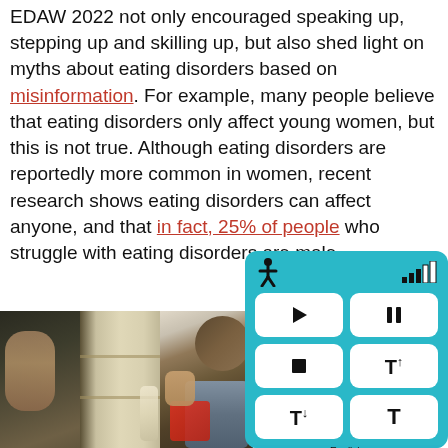EDAW 2022 not only encouraged speaking up, stepping up and skilling up, but also shed light on myths about eating disorders based on misinformation. For example, many people believe that eating disorders only affect young women, but this is not true. Although eating disorders are reportedly more common in women, recent research shows eating disorders can affect anyone, and that in fact, 25% of people who struggle with eating disorders are male.
[Figure (photo): A man sitting in front of an open refrigerator at night, eating food directly from containers, illustrating binge eating behavior.]
[Figure (screenshot): A teal accessibility/media widget overlay showing a person icon, signal bars, and control buttons: play, pause, stop, font resize up, font resize down, and font reset. A language label 'English' appears at the bottom.]